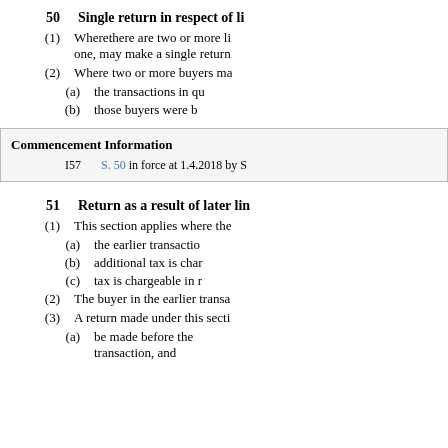50    Single return in respect of li...
(1)   Wherethere are two or more li... one, may make a single return...
(2)   Where two or more buyers ma...
(a)   the transactions in qu...
(b)   those buyers were b...
| Commencement Information |
| --- |
| I57 | S. 50 in force at 1.4.2018 by S... |
51    Return as a result of later lin...
(1)   This section applies where the...
(a)   the earlier transactio...
(b)   additional tax is char...
(c)   tax is chargeable in r...
(2)   The buyer in the earlier transa...
(3)   A return made under this secti...
(a)   be made before the... transaction, and...